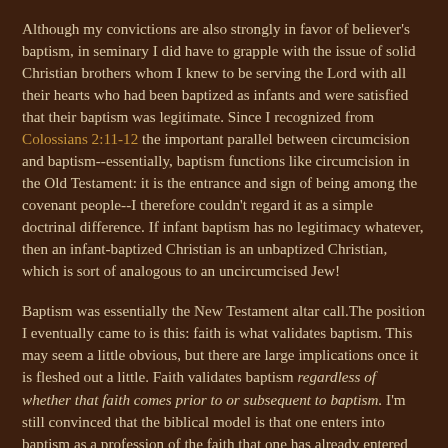Although my convictions are also strongly in favor of believer's baptism, in seminary I did have to grapple with the issue of solid Christian brothers whom I knew to be serving the Lord with all their hearts who had been baptized as infants and were satisfied that their baptism was legitimate. Since I recognized from Colossians 2:11-12 the important parallel between circumcision and baptism--essentially, baptism functions like circumcision in the Old Testament: it is the entrance and sign of being among the covenant people--I therefore couldn't regard it as a simple doctrinal difference. If infant baptism has no legitimacy whatever, then an infant-baptized Christian is an unbaptized Christian, which is sort of analogous to an uncircumcised Jew!
Baptism was essentially the New Testament altar call.The position I eventually came to is this: faith is what validates baptism. This may seem a little obvious, but there are large implications once it is fleshed out a little. Faith validates baptism regardless of whether that faith comes prior to or subsequent to baptism. I'm still convinced that the biblical model is that one enters into baptism as a profession of the faith that one has already entered into--i.e., baptism was essentially the New Testament altar call. So it's really